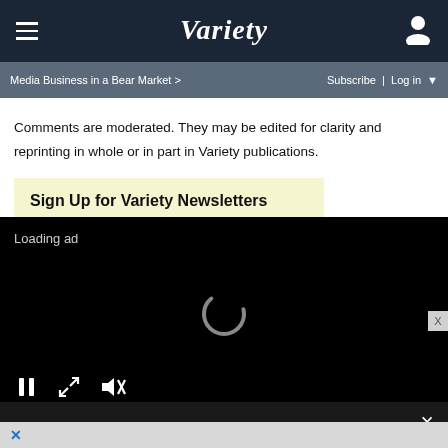Variety — navigation bar with hamburger menu and user icon
Media Business in a Bear Market > | Subscribe | Log in
Comments are moderated. They may be edited for clarity and reprinting in whole or in part in Variety publications.
Sign Up for Variety Newsletters
[Figure (screenshot): Video player overlay showing black loading screen with 'Loading ad' text, a spinning loading indicator, playback controls (pause, expand, mute), and a close button at the bottom right.]